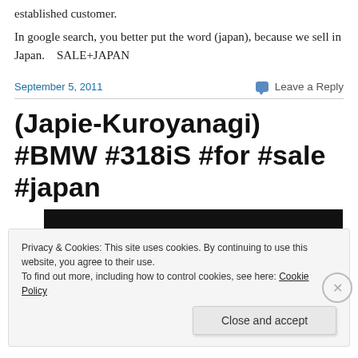established customer.
In google search, you better put the word (japan), because we sell in Japan.    SALE+JAPAN
September 5, 2011
Leave a Reply
(Japie-Kuroyanagi) #BMW #318iS #for #sale #japan
[Figure (photo): Dark/black photograph strip, partially visible]
Privacy & Cookies: This site uses cookies. By continuing to use this website, you agree to their use.
To find out more, including how to control cookies, see here: Cookie Policy
Close and accept